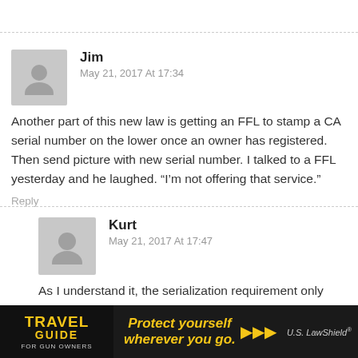Jim
May 21, 2017 At 17:34
Another part of this new law is getting an FFL to stamp a CA serial number on the lower once an owner has registered. Then send picture with new serial number. I talked to a FFL yesterday and he laughed. “I’m not offering that service.”
Reply
Kurt
May 21, 2017 At 17:47
As I understand it, the serialization requirement only applies to homemade / 80% lowers that don’t already have a S/N (and
[Figure (infographic): Travel Guide for Gun Owners advertisement banner with tagline 'Protect yourself wherever you go.' and US LawShield logo]